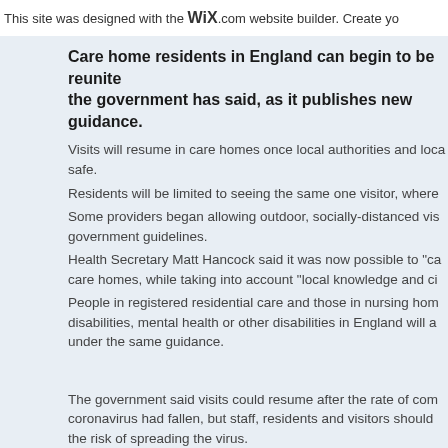This site was designed with the WIX.com website builder. Create yo
Care home residents in England can begin to be reunited the government has said, as it publishes new guidance.
Visits will resume in care homes once local authorities and loca safe.
Residents will be limited to seeing the same one visitor, where Some providers began allowing outdoor, socially-distanced vis government guidelines.
Health Secretary Matt Hancock said it was now possible to "ca care homes, while taking into account "local knowledge and ci People in registered residential care and those in nursing hom disabilities, mental health or other disabilities in England will a under the same guidance.

The government said visits could resume after the rate of com coronavirus had fallen, but staff, residents and visitors should the risk of spreading the virus.
It says care providers should consider whether visits could tak having to go through a shared building, and visitors should sti